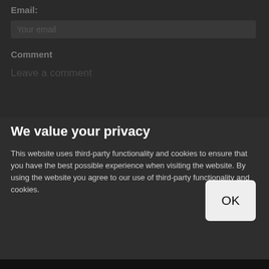Email:
Your email
Comment
Leave a comment
We value your privacy
This website uses third-party functionality and cookies to ensure that you have the best possible experience when visiting the website. By using the website you agree to our use of third-party functionality and cookies.
More details
SUBMIT
hCaptcha
This site is protected by hCaptcha and its Privacy Policy and Terms of Service apply.
OK